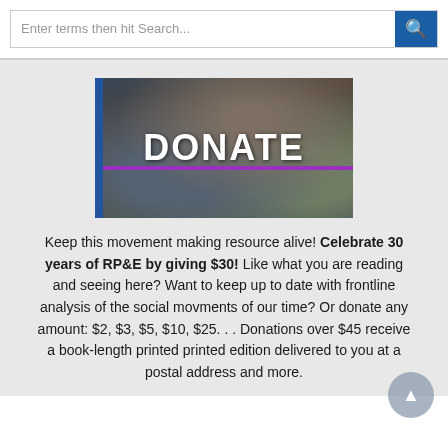Enter terms then hit Search...
[Figure (photo): Donate button overlay on protest/rally photo with Black Lives Matter signs visible in background. A blue vertical bar on left, purple horizontal bar across middle, bold white DONATE text centered.]
Keep this movement making resource alive! Celebrate 30 years of RP&E by giving $30! Like what you are reading and seeing here? Want to keep up to date with frontline analysis of the social movments of our time? Or donate any amount: $2, $3, $5, $10, $25. . . Donations over $45 receive a book-length printed printed edition delivered to you at a postal address and more.